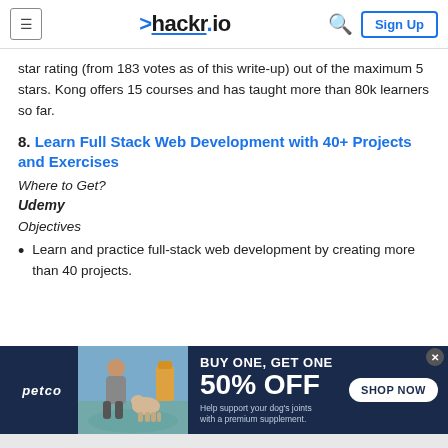hackr.io
star rating (from 183 votes as of this write-up) out of the maximum 5 stars. Kong offers 15 courses and has taught more than 80k learners so far.
8. Learn Full Stack Web Development with 40+ Projects and Exercises
Where to Get?
Udemy
Objectives
Learn and practice full-stack web development by creating more than 40 projects.
[Figure (other): Petco advertisement banner: BUY ONE, GET ONE 50% OFF on dog joint supplements, with SHOP NOW button and photo of woman with dog.]